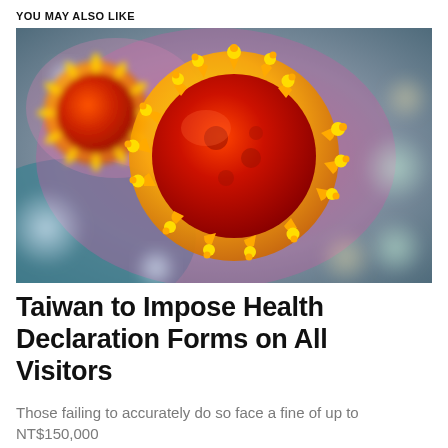YOU MAY ALSO LIKE
[Figure (photo): Close-up microscopic illustration of a red and yellow coronavirus particle with spike proteins, set against a blurred colorful background of pink, teal, and bokeh light effects.]
Taiwan to Impose Health Declaration Forms on All Visitors
Those failing to accurately do so face a fine of up to NT$150,000